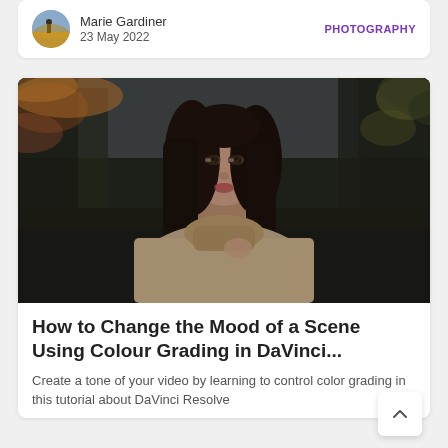Marie Gardiner | 23 May 2022 | PHOTOGRAPHY
[Figure (photo): Portrait photograph of a young woman with dark hair wearing a beige hoodie, standing outdoors against a blurred dark forest background with autumn leaves]
How to Change the Mood of a Scene Using Colour Grading in DaVinci...
Create a tone of your video by learning to control color grading in this tutorial about DaVinci Resolve